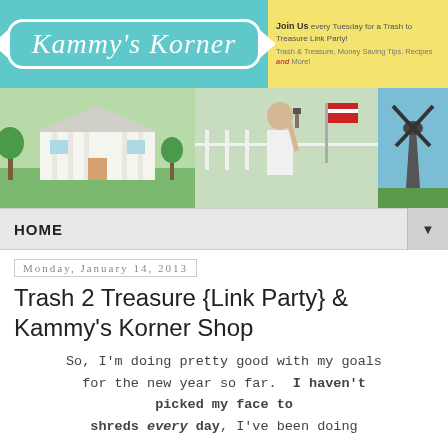[Figure (logo): Kammy's Korner blog header with teal background, decorative frame logo text, and yellow sidebar with 'Join Us every Tuesday for a Trash to Treasure Link Party!' and 'Trash & Treasure, Money Saving Tips, Recipes and More!']
[Figure (photo): Three-panel photo strip: a large white colonial house, a woman with a paintbrush, and a windmill]
HOME ▼
Monday, January 14, 2013
Trash 2 Treasure {Link Party} & Kammy's Korner Shop
So, I'm doing pretty good with my goals for the new year so far. I haven't picked my face to shreds every day, I've been doing